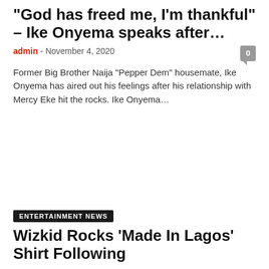“God has freed me, I’m thankful” – Ike Onyema speaks after…
admin - November 4, 2020
Former Big Brother Naija “Pepper Dem” housemate, Ike Onyema has aired out his feelings after his relationship with Mercy Eke hit the rocks. Ike Onyema…
ENTERTAINMENT NEWS
Wizkid Rocks ‘Made In Lagos’ Shirt Following